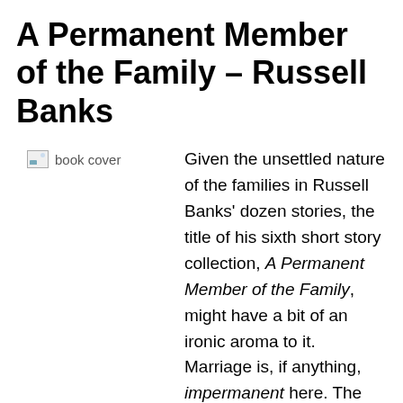A Permanent Member of the Family – Russell Banks
[Figure (illustration): Book cover placeholder image with alt text 'book cover']
Given the unsettled nature of the families in Russell Banks' dozen stories, the title of his sixth short story collection, A Permanent Member of the Family, might have a bit of an ironic aroma to it. Marriage is, if anything, impermanent here. The title character in Former Marine had to raise his boys alone after their mother took off. Philandering, while not depicted, is noted